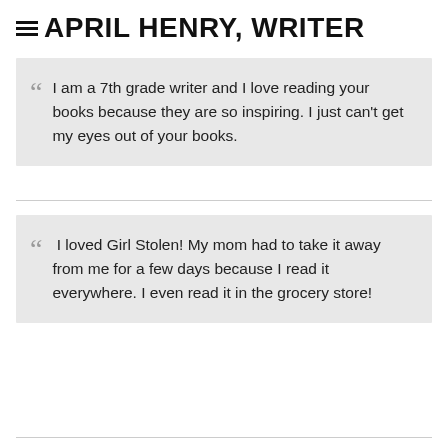APRIL HENRY, WRITER
I am a 7th grade writer and I love reading your books because they are so inspiring. I just can't get my eyes out of your books.
I loved Girl Stolen! My mom had to take it away from me for a few days because I read it everywhere. I even read it in the grocery store!